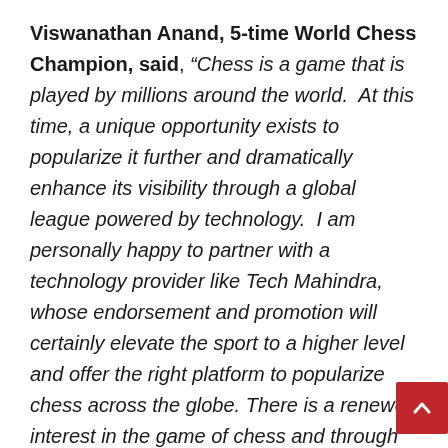Viswanathan Anand, 5-time World Chess Champion, said, "Chess is a game that is played by millions around the world.  At this time, a unique opportunity exists to popularize it further and dramatically enhance its visibility through a global league powered by technology.  I am personally happy to partner with a technology provider like Tech Mahindra, whose endorsement and promotion will certainly elevate the sport to a higher level and offer the right platform to popularize chess across the globe. There is a renewed interest in the game of chess and through this unique global league format, we will be able to keep the spirit of chess intact and ensure the right platform is provided to upcoming talent."